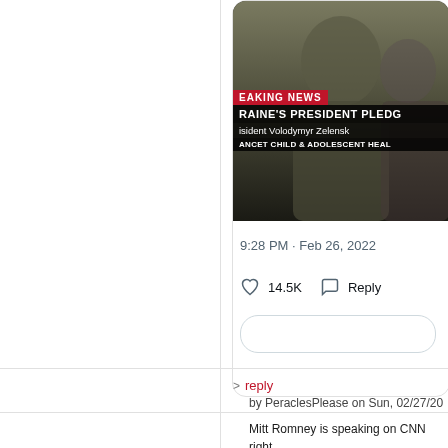[Figure (screenshot): Screenshot of a tweet showing a CNN breaking news video with chyrons reading 'EAKING NEWS', 'RAINE'S PRESIDENT PLEDG', 'isident Volodymyr Zelesk', 'ANCET CHILD & ADOLESCENT HEAL'. Timestamp shows 9:28 PM · Feb 26, 2022 with 14.5K likes and a Reply button.]
> reply by PeraclesPlease on Sun, 02/27/20
Mitt Romney is speaking on CNN right and very apolitically, like a president (he willing to criticize Trump on this.